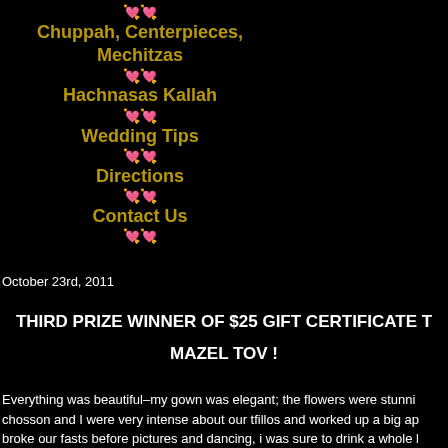Chuppah, Centerpieces, Mechitzas
Hachnasas Kallah
Wedding Tips
Directions
Contact Us
October 23rd, 2011
THIRD PRIZE WINNER OF $25 GIFT CERTIFICATE T
MAZEL TOV !
Everything was beautiful–my gown was elegant; the flowers were stunni… chosson and I were very intense about our tfillos and worked up a big ap… broke our fasts before pictures and dancing, i was sure to drink a whole … the fun dancing to come…It was a good thing my mother warned me to p…